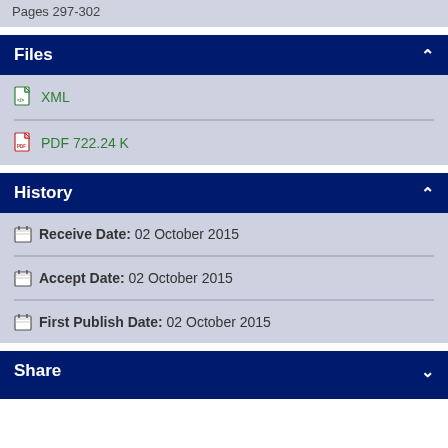Pages 297-302
Files
XML
PDF 722.24 K
History
Receive Date: 02 October 2015
Accept Date: 02 October 2015
First Publish Date: 02 October 2015
Share